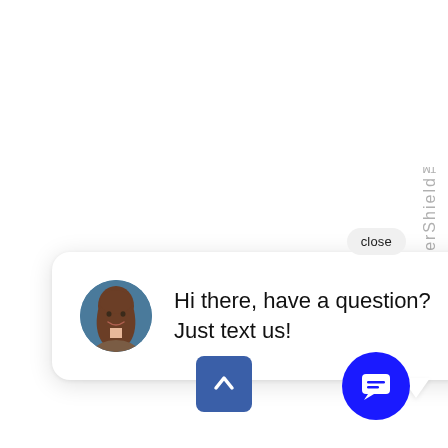eatherShield™
close
[Figure (screenshot): Chat popup bubble with avatar of a woman and message: Hi there, have a question? Just text us!]
[Figure (other): Blue scroll-to-top button with upward chevron arrow]
[Figure (other): Blue circular chat icon button with message bubble icon]